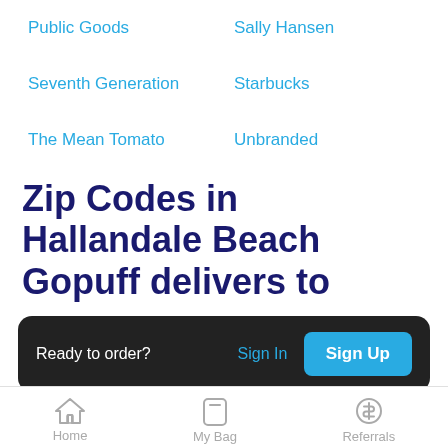Public Goods
Sally Hansen
Seventh Generation
Starbucks
The Mean Tomato
Unbranded
Zip Codes in Hallandale Beach Gopuff delivers to
Ready to order?
Sign In
Sign Up
Home   My Bag   Referrals